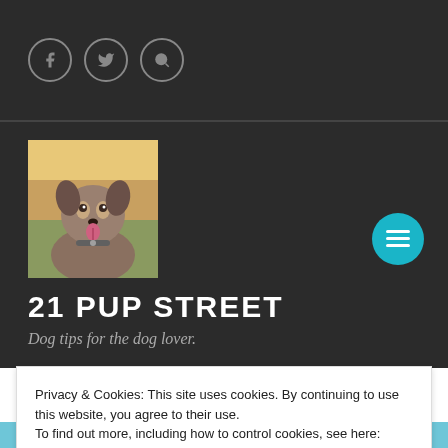Social icons: Facebook, Twitter, Search
[Figure (photo): Dog portrait photo — a large dog with tongue out in a field at sunset]
21 PUP STREET
Dog tips for the dog lover.
TRUE STORIES
My dog has issues but
Privacy & Cookies: This site uses cookies. By continuing to use this website, you agree to their use.
To find out more, including how to control cookies, see here: Cookie Policy
Close and accept
[Figure (photo): Partial view of article image — blue/teal toned image at bottom of page]